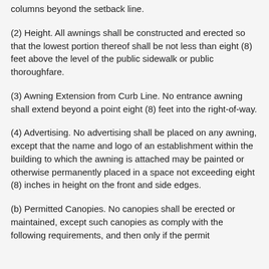columns beyond the setback line.
(2) Height. All awnings shall be constructed and erected so that the lowest portion thereof shall be not less than eight (8) feet above the level of the public sidewalk or public thoroughfare.
(3) Awning Extension from Curb Line. No entrance awning shall extend beyond a point eight (8) feet into the right-of-way.
(4) Advertising. No advertising shall be placed on any awning, except that the name and logo of an establishment within the building to which the awning is attached may be painted or otherwise permanently placed in a space not exceeding eight (8) inches in height on the front and side edges.
(b) Permitted Canopies. No canopies shall be erected or maintained, except such canopies as comply with the following requirements, and then only if the permit